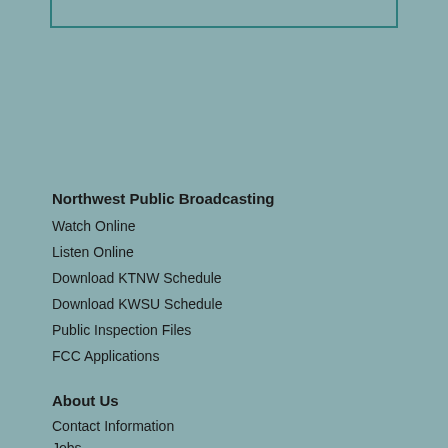[Figure (other): Top border box partial element]
Northwest Public Broadcasting
Watch Online
Listen Online
Download KTNW Schedule
Download KWSU Schedule
Public Inspection Files
FCC Applications
About Us
Contact Information
Jobs